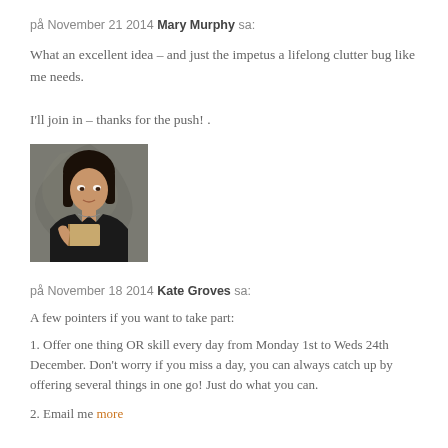på November 21 2014 Mary Murphy sa:
What an excellent idea – and just the impetus a lifelong clutter bug like me needs.
I'll join in – thanks for the push!
[Figure (photo): Profile photo of a young woman in a black top reading a book, with decorative background]
på November 18 2014 Kate Groves sa:
A few pointers if you want to take part:
1. Offer one thing OR skill every day from Monday 1st to Weds 24th December. Don't worry if you miss a day, you can always catch up by offering several things in one go! Just do what you can.
2. Email me more